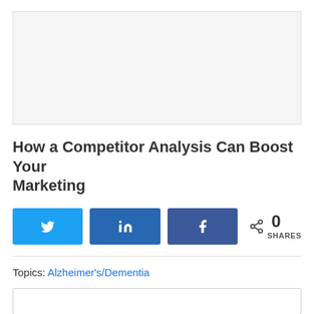[Figure (photo): Light gray placeholder image area at the top of the page]
How a Competitor Analysis Can Boost Your Marketing
Twitter share button, LinkedIn share button, Facebook share button, 0 SHARES
Topics: Alzheimer's/Dementia
Search box (empty)
Twitter share button, LinkedIn share button, Facebook share button, 0 SHARES